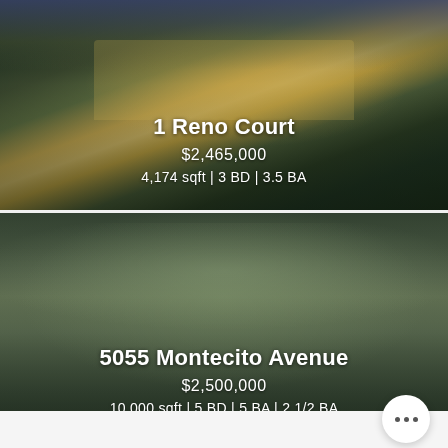[Figure (photo): Aerial/landscape photo of a large residential home at dusk with trees in background and lawn in foreground]
1 Reno Court
$2,465,000
4,174 sqft | 3 BD | 3.5 BA
[Figure (photo): Blurred aerial photo of a large residential property surrounded by trees]
5055 Montecito Avenue
$2,500,000
10,000 sqft | 5 BD | 5 BA | 2 1/2 BA